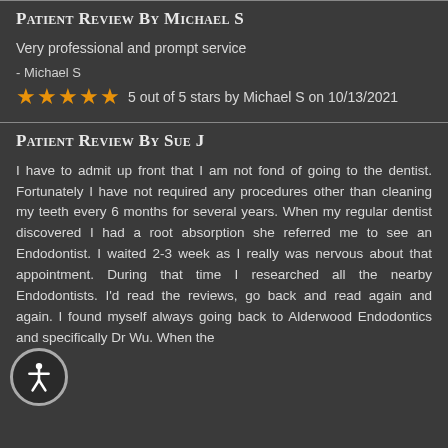Patient Review By Michael S
Very professional and prompt service
- Michael S
5 out of 5 stars by Michael S on 10/13/2021
Patient Review By Sue J
I have to admit up front that I am not fond of going to the dentist. Fortunately I have not required any procedures other than cleaning my teeth every 6 months for several years. When my regular dentist discovered I had a root absorption she referred me to see an Endodontist. I waited 2-3 week as I really was nervous about that appointment. During that time I researched all the nearby Endodontists. I'd read the reviews, go back and read again and again. I found myself always going back to Alderwood Endodontics and specifically Dr Wu. When the